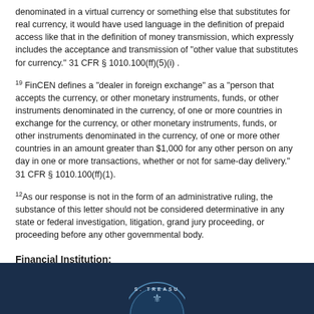denominated in a virtual currency or something else that substitutes for real currency, it would have used language in the definition of prepaid access like that in the definition of money transmission, which expressly includes the acceptance and transmission of "other value that substitutes for currency." 31 CFR § 1010.100(ff)(5)(i) .
19 FinCEN defines a "dealer in foreign exchange" as a "person that accepts the currency, or other monetary instruments, funds, or other instruments denominated in the currency, of one or more countries in exchange for the currency, or other monetary instruments, funds, or other instruments denominated in the currency, of one or more other countries in an amount greater than $1,000 for any other person on any day in one or more transactions, whether or not for same-day delivery." 31 CFR § 1010.100(ff)(1).
12 As our response is not in the form of an administrative ruling, the substance of this letter should not be considered determinative in any state or federal investigation, litigation, grand jury proceeding, or proceeding before any other governmental body.
Financial Institution:
Money Services Businesses
[Figure (logo): U.S. Treasury seal/logo partially visible at bottom of page on dark navy blue background]